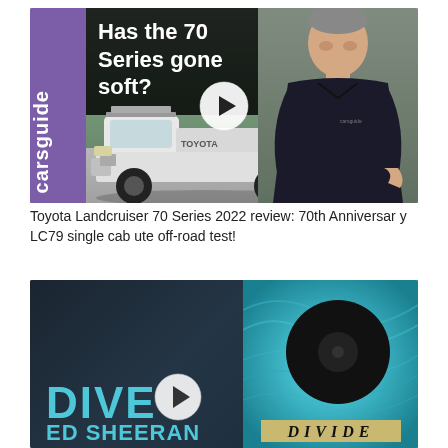[Figure (screenshot): CarsGuide video thumbnail showing Toyota Landcruiser 70 Series white ute with text 'Has the 70 Series gone soft?' and a man in black polo shirt, with play button overlay]
Toyota Landcruiser 70 Series 2022 review: 70th Anniversary LC79 single cab ute off-road test!
[Figure (screenshot): Video thumbnail for Ed Sheeran 'Dive' with teal/cyan background, DIVE text in large cyan letters, ED SHEERAN below, and the Divide album cover on right side, with play button overlay]